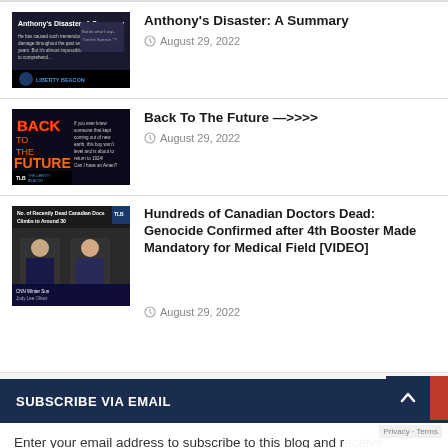[Figure (screenshot): Thumbnail image for article 'Anthony's Disaster: A Summary' showing a dark background with title text and Liberty Beacon logo]
Anthony's Disaster: A Summary
August 29, 2022
[Figure (screenshot): Thumbnail image for article 'Back To The Future —>>>>' showing Back to the Future movie style text and Liberty Beacon logo]
Back To The Future —>>>>
August 29, 2022
[Figure (screenshot): Thumbnail image for article about Canadian doctors dead, showing news broadcast screenshot with text 'No. of Recently Dead Canadian Docs Climbs to Around 30']
Hundreds of Canadian Doctors Dead: Genocide Confirmed after 4th Booster Made Mandatory for Medical Field [VIDEO]
August 29, 2022
SUBSCRIBE VIA EMAIL
Enter your email address to subscribe to this blog and receive notifications of new posts by email.